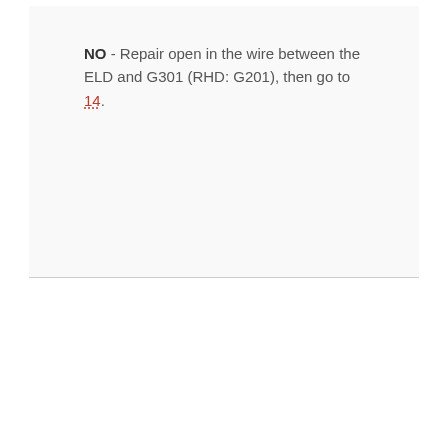NO - Repair open in the wire between the ELD and G301 (RHD: G201), then go to 14.